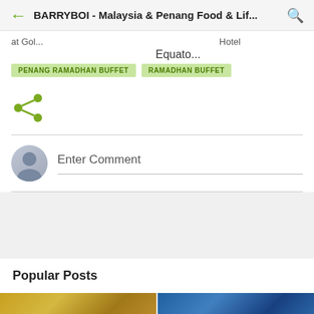BARRYBOI - Malaysia & Penang Food & Lif...
at Gol... Hotel Equato...
PENANG RAMADHAN BUFFET
RAMADHAN BUFFET
[Figure (infographic): Share icon (connected dots/circles) in olive green color]
Enter Comment
Popular Posts